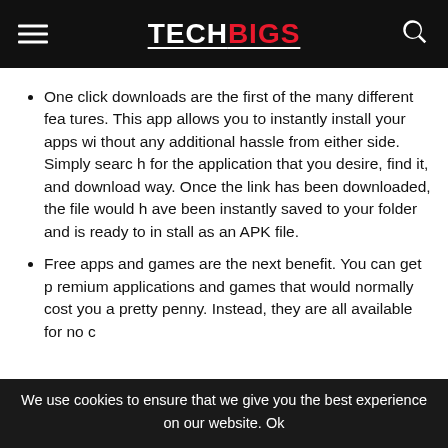TECHBIGS
One click downloads are the first of the many different features. This app allows you to instantly install your apps without any additional hassle from either side. Simply search for the application that you desire, find it, and download way. Once the link has been downloaded, the file would have been instantly saved to your folder and is ready to install as an APK file.
Free apps and games are the next benefit. You can get premium applications and games that would normally cost you a pretty penny. Instead, they are all available for no c
We use cookies to ensure that we give you the best experience on our website. Ok